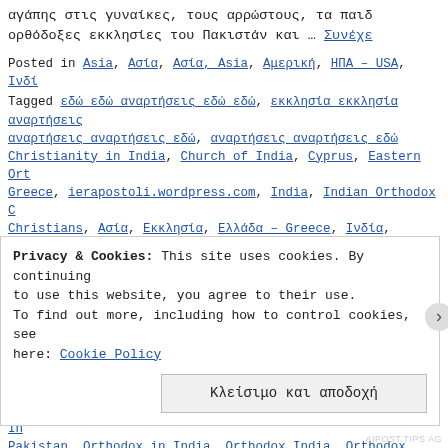αγάπης στις γυναίκες, τους αρρώστους, τα παιδ ορθόδοξες εκκλησίες του Πακιστάν και … Συνέχε
Posted in Asia, Ασία, Ασία, Asia, Αμερική, ΗΠΑ – USA, Ινδί Tagged εκκλησίες ... Christianity in India, Church of India, Cyprus, Eastern Or Greece, ierapostoli.wordpress.com, India, Indian Orthodox C Christians, Ασία, Εκκλησία, Ελλάδα – Greece, Ινδία, Ινδία– Μητρόπολη Σιγκαπούρης, Ορθόδοξη Εκκλησία, Ορθόδοξη Εκκλησία Ινδίας, Ορθόδοξη Εκκλησία Ινδιών, Ορθόδοξη Ιεραποστολή, Ορθ μοναχή Νεκταρία, μοναχή Νεκταρία στην Ινδία, ορφανοτροφείο Catholic Church, Orthodox Christian Mission Center, Orthodo Christians in India, Orthodox Church, Orthodox Church in In Pakistan, Orthodox in India, Orthodox India, Orthodox Pakis India, Philanthropic Society of the Orthodox Church in Indi Ignatius Boys' Orphanage, Theotokos Girls' Orphanage | 1 σχ
Privacy & Cookies: This site uses cookies. By continuing to use this website, you agree to their use. To find out more, including how to control cookies, see here: Cookie Policy
Κλείσιμο και αποδοχή